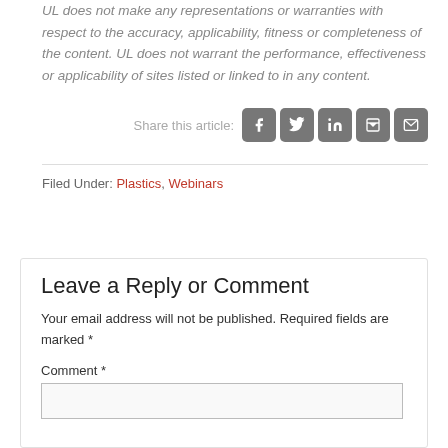UL does not make any representations or warranties with respect to the accuracy, applicability, fitness or completeness of the content. UL does not warrant the performance, effectiveness or applicability of sites listed or linked to in any content.
Share this article: [Facebook] [Twitter] [LinkedIn] [Print] [Email]
Filed Under: Plastics, Webinars
Leave a Reply or Comment
Your email address will not be published. Required fields are marked *
Comment *